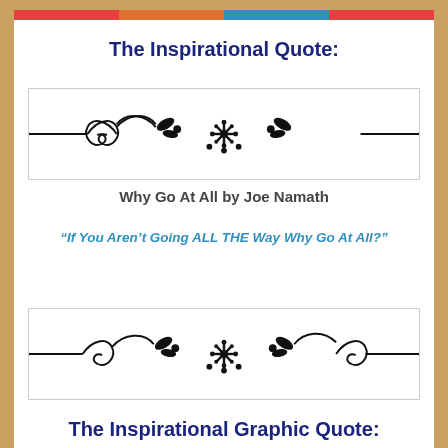[colored navigation bar]
The Inspirational Quote:
[Figure (illustration): Decorative ornamental divider with floral and scroll motifs, black on white background]
Why Go At All by Joe Namath
“If You Aren’t Going ALL THE Way Why Go At All?”
[Figure (illustration): Decorative ornamental divider with floral and scroll motifs, black on white background]
The Inspirational Graphic Quote: